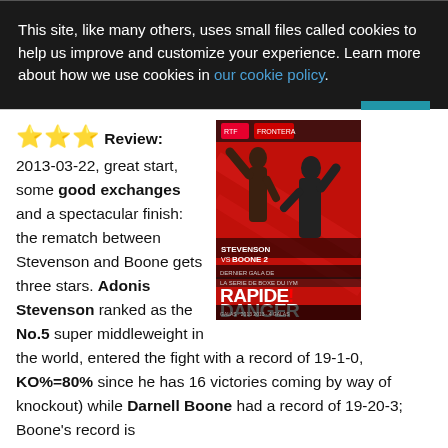This site, like many others, uses small files called cookies to help us improve and customize your experience. Learn more about how we use cookies in our cookie policy.
OK
⭐⭐⭐ Review: 2013-03-22, great start, some good exchanges and a spectacular finish: the rematch between Stevenson and Boone gets three stars. Adonis Stevenson ranked as the No.5 super middleweight in the world, entered the fight with a record of 19-1-0, KO%=80% since he has 16 victories coming by way of knockout) while Darnell Boone had a record of 19-20-3; Boone's record is
[Figure (photo): Event poster for Stevenson vs Boone 2 boxing match, 'Rapide Danger' gala, red background with fighters]